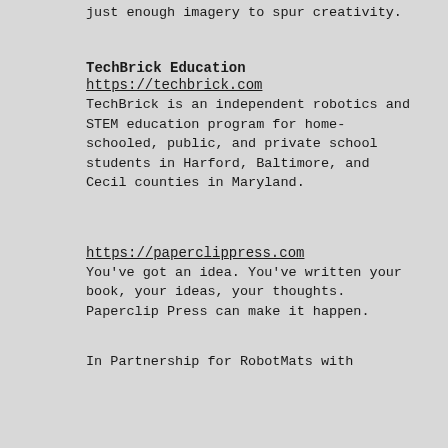just enough imagery to spur creativity.
TechBrick Education
https://techbrick.com
TechBrick is an independent robotics and STEM education program for home-schooled, public, and private school students in Harford, Baltimore, and Cecil counties in Maryland.
https://paperclippress.com
You've got an idea. You've written your book, your ideas, your thoughts. Paperclip Press can make it happen.
In Partnership for RobotMats with